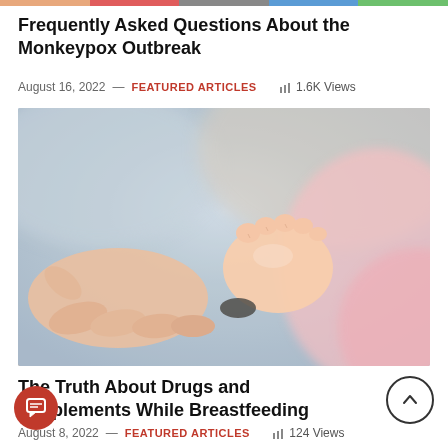Frequently Asked Questions About the Monkeypox Outbreak
August 16, 2022 — FEATURED ARTICLES  1.6K Views
[Figure (photo): Close-up photo of an adult hand holding a baby's small foot/hand, with soft warm lighting and pink clothing in background]
The Truth About Drugs and Supplements While Breastfeeding
August 8, 2022 — FEATURED ARTICLES  124 Views